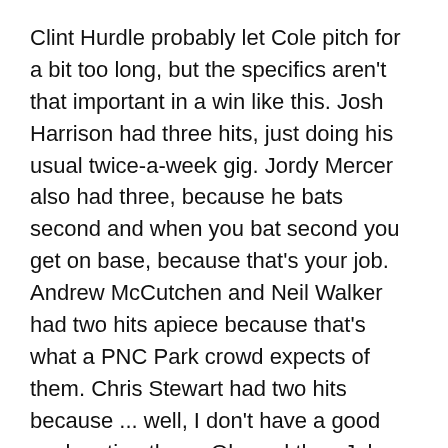Clint Hurdle probably let Cole pitch for a bit too long, but the specifics aren't that important in a win like this. Josh Harrison had three hits, just doing his usual twice-a-week gig. Jordy Mercer also had three, because he bats second and when you bat second you get on base, because that's your job. Andrew McCutchen and Neil Walker had two hits apiece because that's what a PNC Park crowd expects of them. Chris Stewart had two hits because ... well, I don't have a good explanation there. Oh, and then John Holdzkom, Tony Watson and John Axford all threw like six pitches and struck out nine batters because the bullpen is good now and the relievers just wanted to do their jobs so they all could get home to see their kids. The Pirates had a job to do against a bad Cubs team, and they did it, because they're pros.